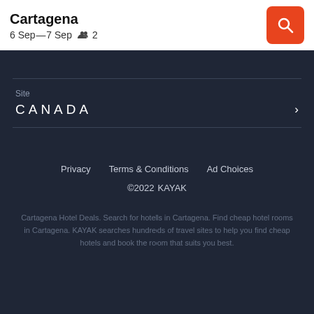Cartagena
6 Sep — 7 Sep   2
Site
CANADA
Privacy   Terms & Conditions   Ad Choices
©2022 KAYAK
Cartagena Hotel Deals. Search for hotels in Cartagena. Find cheap hotel rooms in Cartagena. KAYAK searches hundreds of travel sites to help you find cheap hotels and book the room that suits you best.